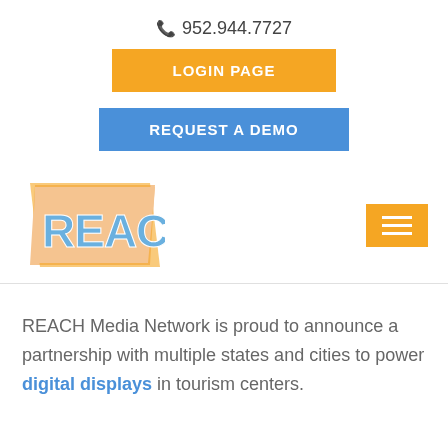952.944.7727
LOGIN PAGE
REQUEST A DEMO
[Figure (logo): REACH Media Network logo - bold blue text on an orange parallelogram background]
REACH Media Network is proud to announce a partnership with multiple states and cities to power digital displays in tourism centers.